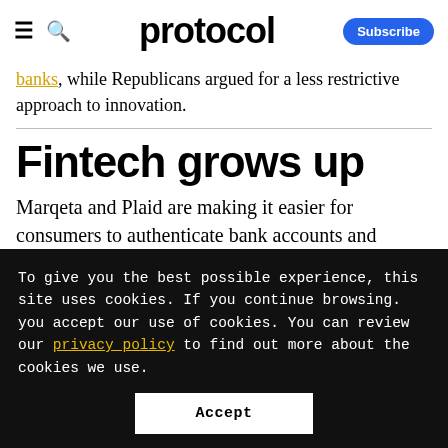protocol  Subscribe
banks, while Republicans argued for a less restrictive approach to innovation.
Fintech grows up
Marqeta and Plaid are making it easier for consumers to authenticate bank accounts and
To give you the best possible experience, this site uses cookies. If you continue browsing. you accept our use of cookies. You can review our privacy policy to find out more about the cookies we use.
Accept